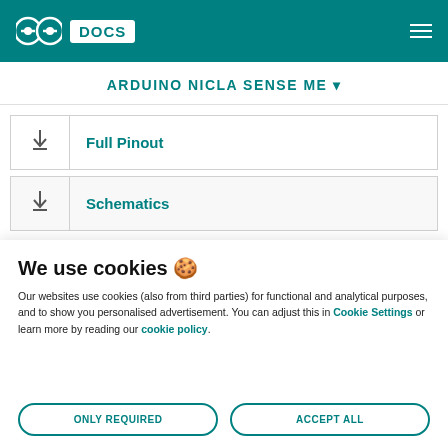Arduino Docs — Arduino Nicla Sense Me
ARDUINO NICLA SENSE ME
| Icon | Label |
| --- | --- |
| ↓ | Full Pinout |
| ↓ | Schematics |
We use cookies 🍪
Our websites use cookies (also from third parties) for functional and analytical purposes, and to show you personalised advertisement. You can adjust this in Cookie Settings or learn more by reading our cookie policy.
ONLY REQUIRED
ACCEPT ALL